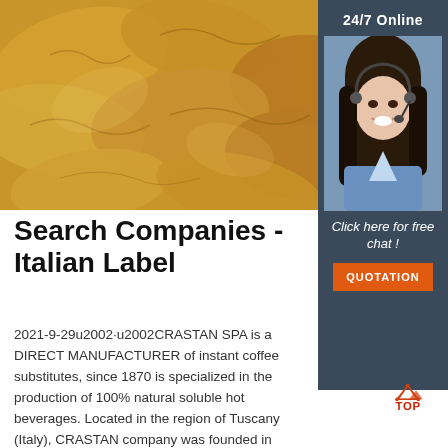[Figure (photo): Close-up photo of fresh ginger roots, golden-brown knobbly ginger rhizomes filling the frame]
[Figure (photo): Sidebar widget with dark blue-grey background showing '24/7 Online' label, photo of a smiling female customer service agent wearing headset, 'Click here for free chat!' text, and orange QUOTATION button]
Search Companies - Italian Label
2021-9-29u2002·u2002CRASTAN SPA is a DIRECT MANUFACTURER of instant coffee substitutes, since 1870 is specialized in the production of 100% natural soluble hot beverages. Located in the region of Tuscany (Italy), CRASTAN company was founded in 1870 by the Swiss entrepreneur Luzio Crastan who started the production of roasted coffee substitutes.
[Figure (logo): TOP logo with orange mountain/pyramid icon and red TOP text]